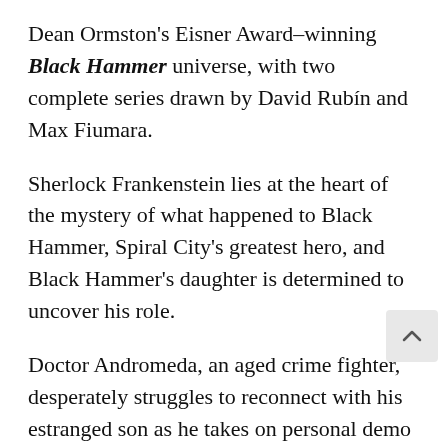Dean Ormston's Eisner Award–winning Black Hammer universe, with two complete series drawn by David Rubín and Max Fiumara.
Sherlock Frankenstein lies at the heart of the mystery of what happened to Black Hammer, Spiral City's greatest hero, and Black Hammer's daughter is determined to uncover his role.
Doctor Andromeda, an aged crime fighter, desperately struggles to reconnect with his estranged son as he takes on personal demo and interstellar battles.
Collects Sherlock Frankenstein & the Legion of Evil and Doctor Andromeda and the Kingdom of Lost Tomorrows in an afforable omnibus format.